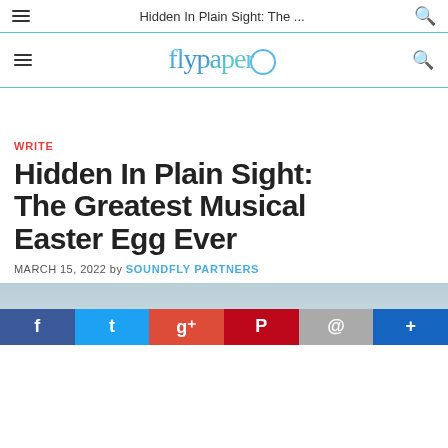Hidden In Plain Sight: The ...
[Figure (logo): Flypaper logo in blue watercolor script with circular emblem]
WRITE
Hidden In Plain Sight: The Greatest Musical Easter Egg Ever
MARCH 15, 2022 by SOUNDFLY PARTNERS
[Figure (photo): Article header image with social share buttons at bottom: Facebook, Twitter, Google+, Pinterest, Email, More]